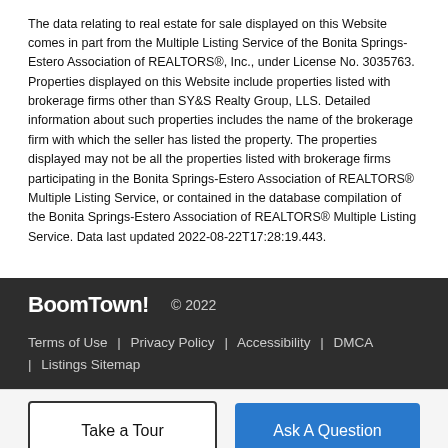The data relating to real estate for sale displayed on this Website comes in part from the Multiple Listing Service of the Bonita Springs-Estero Association of REALTORS®, Inc., under License No. 3035763. Properties displayed on this Website include properties listed with brokerage firms other than SY&S Realty Group, LLS. Detailed information about such properties includes the name of the brokerage firm with which the seller has listed the property. The properties displayed may not be all the properties listed with brokerage firms participating in the Bonita Springs-Estero Association of REALTORS® Multiple Listing Service, or contained in the database compilation of the Bonita Springs-Estero Association of REALTORS® Multiple Listing Service. Data last updated 2022-08-22T17:28:19.443.
BoomTown! © 2022 | Terms of Use | Privacy Policy | Accessibility | DMCA | Listings Sitemap
Take a Tour
Ask A Question